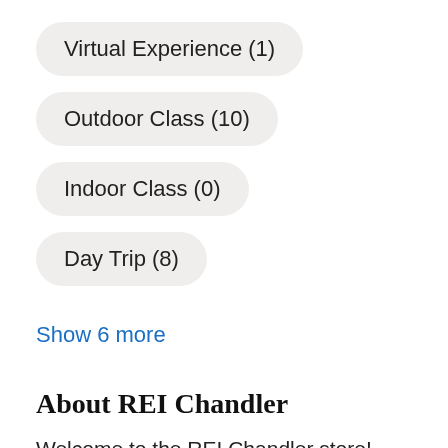Virtual Experience (1)
Outdoor Class (10)
Indoor Class (0)
Day Trip (8)
Show 6 more
About REI Chandler
Welcome to the REI Chandler store! Here you'll find top-brand gear and clothing—and inspiration—for camping, climbing, cycling, fitness, hiking, paddling, travel and more. You'll also find classes to help you get the most out of being outdoors, and a full range of professional bike shop services to keep you rolling.